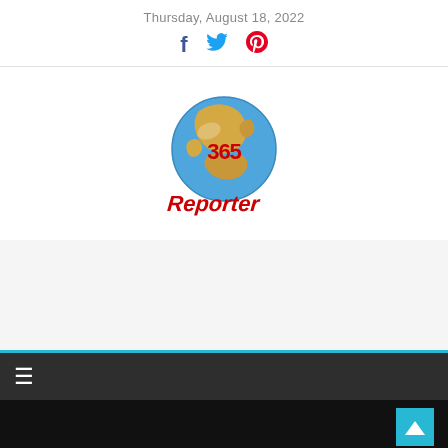Thursday, August 18, 2022
[Figure (logo): 365 Reporter globe logo with '365' in red text on a globe and 'Reporter' in red italic text below]
[Figure (other): Light gray advertisement banner area]
[Figure (other): Dark navigation bar with hamburger menu icon (three horizontal lines) and a cyan top border]
[Figure (other): Black band at bottom with a cyan scroll-to-top arrow button on the right]